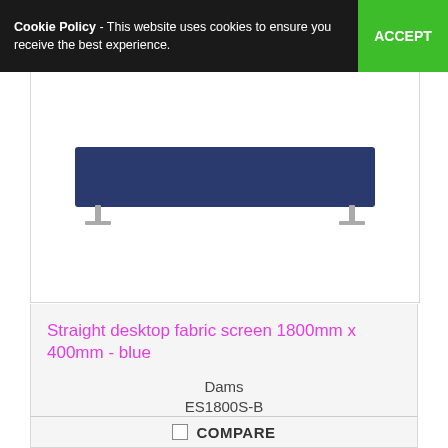Cookie Policy - This website uses cookies to ensure you receive the best experience. ACCEPT
[Figure (photo): A straight blue desktop fabric screen (1800mm x 400mm) mounted on two small silver metal feet, shown against a white background.]
Straight desktop fabric screen 1800mm x 400mm - blue
Dams
ES1800S-B
-
COMPARE